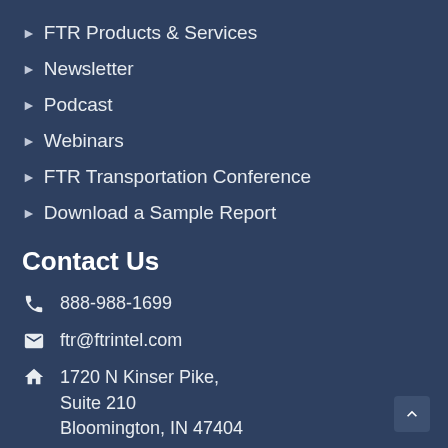FTR Products & Services
Newsletter
Podcast
Webinars
FTR Transportation Conference
Download a Sample Report
Contact Us
888-988-1699
ftr@ftrintel.com
1720 N Kinser Pike, Suite 210 Bloomington, IN 47404